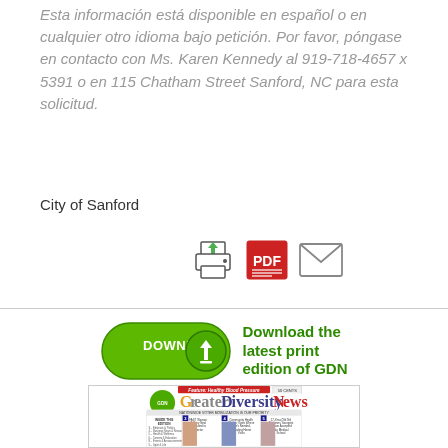Esta información está disponible en español o en cualquier otro idioma bajo petición. Por favor, póngase en contacto con Ms. Karen Kennedy al 919-718-4657 x 5391 o en 115 Chatham Street Sanford, NC para esta solicitud.
City of Sanford
[Figure (infographic): Print icon, PDF icon, and email/envelope icon as action buttons]
[Figure (infographic): Download the latest print edition of GDN banner with green download button and Greater Diversity News newspaper cover thumbnail showing Feature: Healthy Blood Pressure and NATIONWIDE VOTER MOBILIZATION IS OUR PRIORITY headlines]